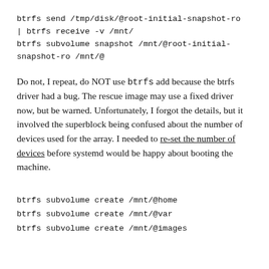btrfs send /tmp/disk/@root-initial-snapshot-ro
| btrfs receive -v /mnt/
btrfs subvolume snapshot /mnt/@root-initial-snapshot-ro /mnt/@
Do not, I repeat, do NOT use btrfs add because the btrfs driver had a bug. The rescue image may use a fixed driver now, but be warned. Unfortunately, I forgot the details, but it involved the superblock being confused about the number of devices used for the array. I needed to re-set the number of devices before systemd would be happy about booting the machine.
btrfs subvolume create /mnt/@home
btrfs subvolume create /mnt/@var
btrfs subvolume create /mnt/@images